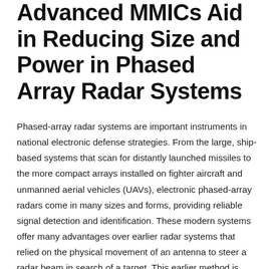Advanced MMICs Aid in Reducing Size and Power in Phased Array Radar Systems
Phased-array radar systems are important instruments in national electronic defense strategies. From the large, ship-based systems that scan for distantly launched missiles to the more compact arrays installed on fighter aircraft and unmanned aerial vehicles (UAVs), electronic phased-array radars come in many sizes and forms, providing reliable signal detection and identification. These modern systems offer many advantages over earlier radar systems that relied on the physical movement of an antenna to steer a radar beam in search of a target. This earlier method is certainly proven and reliable, having been used in military platforms and commercial aviation for over 70 years, but it is limited in scan rate by the mechanical motion of the antenna. In contrast, a phased-array radar